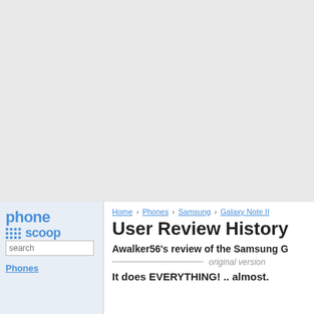[Figure (other): Gray advertisement placeholder area at top of page]
[Figure (logo): Phone Scoop logo in blue with dot grid icon]
Home › Phones › Samsung › Galaxy Note II
User Review History
Awalker56's review of the Samsung G
original version
It does EVERYTHING! .. almost.
search
Phones